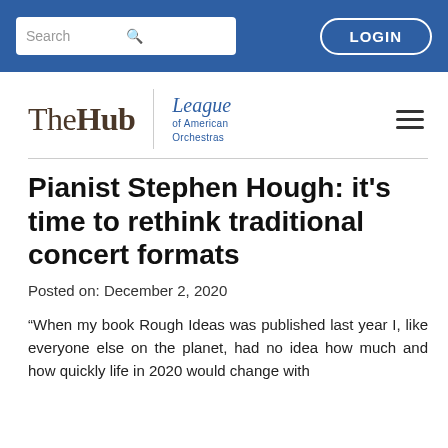[Figure (screenshot): Website navigation bar with search box and LOGIN button on blue background]
[Figure (logo): The Hub | League of American Orchestras logo with hamburger menu]
Pianist Stephen Hough: it's time to rethink traditional concert formats
Posted on: December 2, 2020
“When my book Rough Ideas was published last year I, like everyone else on the planet, had no idea how much and how quickly life in 2020 would change with